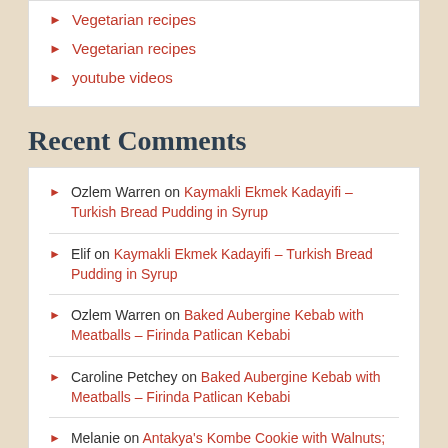Vegetarian recipes
Vegetarian recipes
youtube videos
Recent Comments
Ozlem Warren on Kaymakli Ekmek Kadayifi – Turkish Bread Pudding in Syrup
Elif on Kaymakli Ekmek Kadayifi – Turkish Bread Pudding in Syrup
Ozlem Warren on Baked Aubergine Kebab with Meatballs – Firinda Patlican Kebabi
Caroline Petchey on Baked Aubergine Kebab with Meatballs – Firinda Patlican Kebabi
Melanie on Antakya's Kombe Cookie with Walnuts; three generations baking
Favorite Links